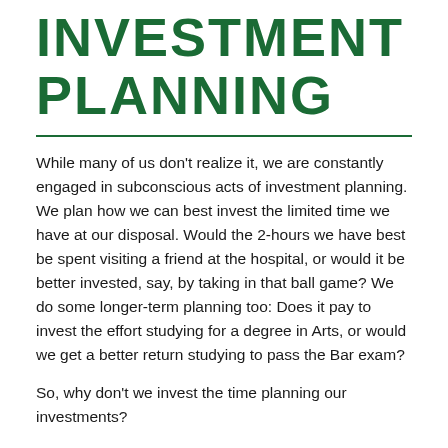INVESTMENT PLANNING
While many of us don't realize it, we are constantly engaged in subconscious acts of investment planning. We plan how we can best invest the limited time we have at our disposal. Would the 2-hours we have best be spent visiting a friend at the hospital, or would it be better invested, say, by taking in that ball game? We do some longer-term planning too: Does it pay to invest the effort studying for a degree in Arts, or would we get a better return studying to pass the Bar exam?
So, why don't we invest the time planning our investments?